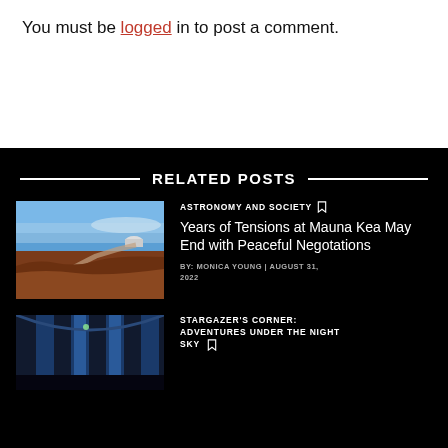You must be logged in to post a comment.
RELATED POSTS
[Figure (photo): Aerial view of Mauna Kea observatory telescopes on red volcanic landscape with blue sky]
ASTRONOMY AND SOCIETY
Years of Tensions at Mauna Kea May End with Peaceful Negotations
BY: MONICA YOUNG | AUGUST 31, 2022
[Figure (photo): Interior architectural view of what appears to be an observatory or dome structure with blue and dark tones]
STARGAZER'S CORNER: ADVENTURES UNDER THE NIGHT SKY